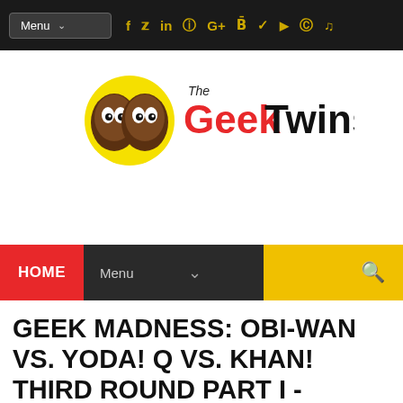Menu | social icons: f, Twitter, in, Instagram, G+, Behance, Vine, YouTube, Pinterest, SoundCloud
[Figure (logo): The Geek Twins logo — two cartoon faces on a yellow circle, with text 'The Geek Twins' where Geek is red and Twins is black]
HOME | Menu | Search
GEEK MADNESS: OBI-WAN VS. YODA! Q VS. KHAN! THIRD ROUND PART I - DEADLINE 4/3